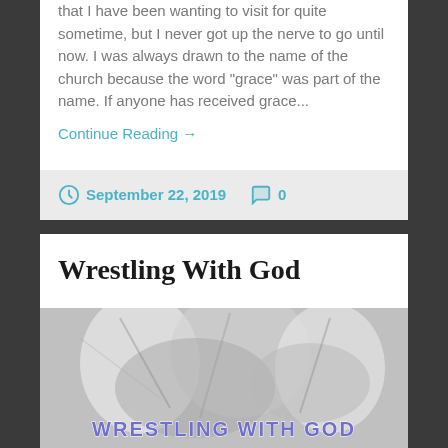that I have been wanting to visit for quite sometime, but I never got up the nerve to go until now. I was always drawn to the name of the church because the word "grace" was part of the name. If anyone has received grace...
Continue Reading →
September 22, 2019   0
Wrestling With God
[Figure (photo): Black and white photo of wrestlers or figures grappling, with the text 'WRESTLING WITH GOD' overlaid at the bottom in blue/purple stylized letters]